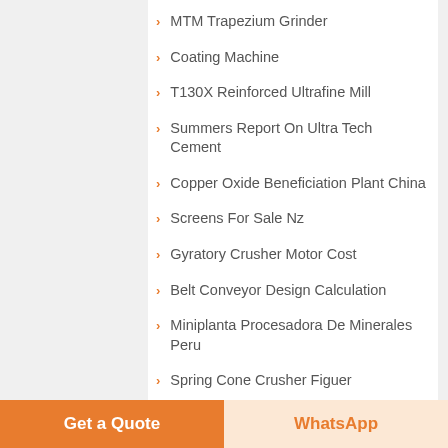MTM Trapezium Grinder
Coating Machine
T130X Reinforced Ultrafine Mill
Summers Report On Ultra Tech Cement
Copper Oxide Beneficiation Plant China
Screens For Sale Nz
Gyratory Crusher Motor Cost
Belt Conveyor Design Calculation
Miniplanta Procesadora De Minerales Peru
Spring Cone Crusher Figuer
How To Remove Iron Oxide From Kaolin Powder
Thank You For Attending Our Business Expo Letter
Get a Quote
WhatsApp